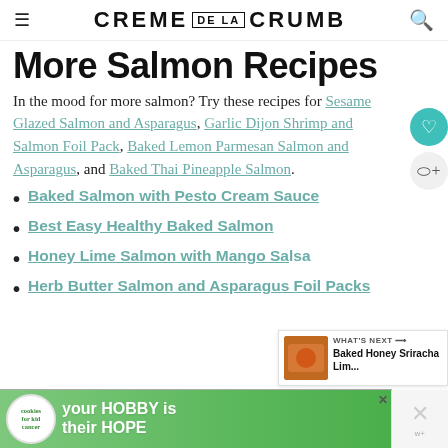CREME DE LA CRUMB
More Salmon Recipes
In the mood for more salmon? Try these recipes for Sesame Glazed Salmon and Asparagus, Garlic Dijon Shrimp and Salmon Foil Pack, Baked Lemon Parmesan Salmon and Asparagus, and Baked Thai Pineapple Salmon.
Baked Salmon with Pesto Cream Sauce
Best Easy Healthy Baked Salmon
Honey Lime Salmon with Mango Sa...
Herb Butter Salmon and Asparagus Foil Packs
[Figure (other): What's Next panel showing Baked Honey Sriracha Lim... with food thumbnail]
[Figure (other): Advertisement banner: cookies for kid cancer - your HOBBY is their HOPE]